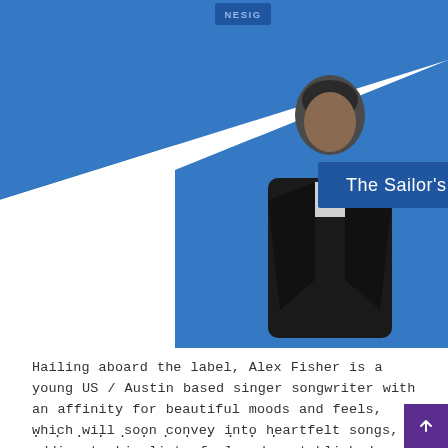[Figure (illustration): Album/artist artwork for 'The Sailor's Wife' by Alex Fisher. Blue triangular geometric background with black-and-white photo of a young man in a dark jacket. Text overlay reads 'The Sailor's Wife'. Small 'MESO' or similar logo in top-left corner.]
Hailing aboard the label, Alex Fisher is a young US / Austin based singer songwriter with an affinity for beautiful moods and feels, which will soon convey into heartfelt songs, adding to his list of already established song. Alex' music "makes you stop what you're doing and listen extra close." His writing has been described as "atmospheric and vast [...] the perfect...
. . . . . . . . . . . .